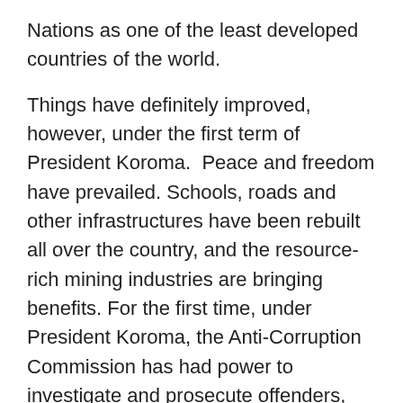Nations as one of the least developed countries of the world.
Things have definitely improved, however, under the first term of President Koroma.  Peace and freedom have prevailed. Schools, roads and other infrastructures have been rebuilt all over the country, and the resource-rich mining industries are bringing benefits. For the first time, under President Koroma, the Anti-Corruption Commission has had power to investigate and prosecute offenders, and President Koroma has sought to rid his government of any suggestion of wrong-doing.
The President is the only head-of-state who is a